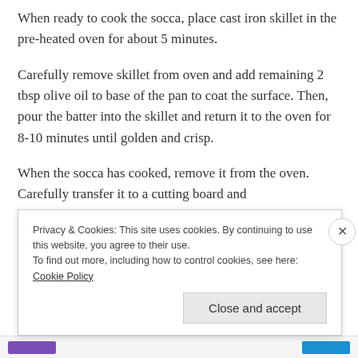When ready to cook the socca, place cast iron skillet in the pre-heated oven for about 5 minutes.
Carefully remove skillet from oven and add remaining 2 tbsp olive oil to base of the pan to coat the surface. Then, pour the batter into the skillet and return it to the oven for 8-10 minutes until golden and crisp.
When the socca has cooked, remove it from the oven. Carefully transfer it to a cutting board and
Privacy & Cookies: This site uses cookies. By continuing to use this website, you agree to their use.
To find out more, including how to control cookies, see here: Cookie Policy
Close and accept